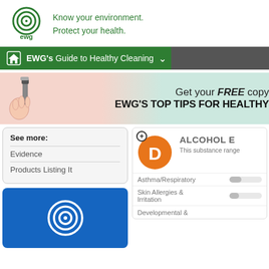[Figure (logo): EWG logo — circular concentric ring icon in green with 'ewg' text below]
Know your environment.
Protect your health.
EWG's Guide to Healthy Cleaning
[Figure (infographic): Banner ad: hand holding brush illustration on pink/teal gradient. Text: Get your FREE copy EWG'S TOP TIPS FOR HEALTHY]
See more:
Evidence
Products Listing It
[Figure (infographic): Grade D orange circle badge with white D letter and + icon. Product labeled ALCOHOL E. This substance range shown.]
This substance range
Asthma/Respiratory
Skin Allergies & Irritation
[Figure (logo): EWG logo white concentric rings on blue background box]